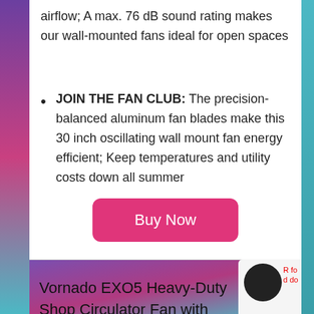airflow; A max. 76 dB sound rating makes our wall-mounted fans ideal for open spaces
JOIN THE FAN CLUB: The precision-balanced aluminum fan blades make this 30 inch oscillating wall mount fan energy efficient; Keep temperatures and utility costs down all summer
[Figure (other): Pink 'Buy Now' button]
Vornado EXO5 Heavy-Duty Shop Circulator Fan with High-Impac